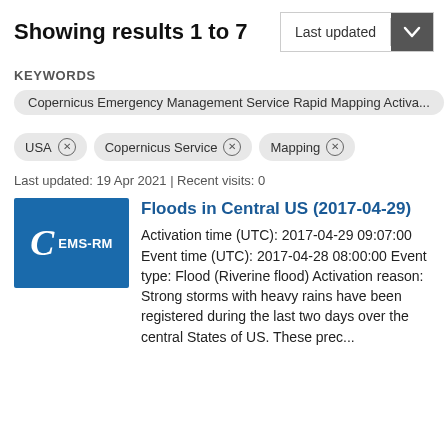Showing results 1 to 7
KEYWORDS
Copernicus Emergency Management Service Rapid Mapping Activa...
USA ×
Copernicus Service ×
Mapping ×
Last updated: 19 Apr 2021 | Recent visits: 0
Floods in Central US (2017-04-29)
Activation time (UTC): 2017-04-29 09:07:00 Event time (UTC): 2017-04-28 08:00:00 Event type: Flood (Riverine flood) Activation reason: Strong storms with heavy rains have been registered during the last two days over the central States of US. These prec...